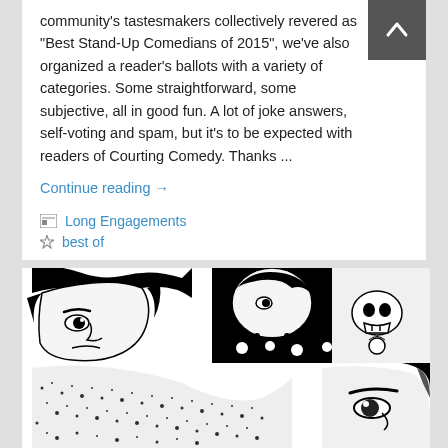community's tastesmakers collectively revered as "Best Stand-Up Comedians of 2015", we've also organized a reader's ballots with a variety of categories. Some straightforward, some subjective, all in good fun. A lot of joke answers, self-voting and spam, but it's to be expected with readers of Courting Comedy.  Thanks ...
Continue reading →
Long Engagements
best of
[Figure (illustration): Black and white comic book style illustration showing multiple faces in a pop-art style, with halftone dots, dramatic expressions, tattoos, jewelry and stylized hair.]